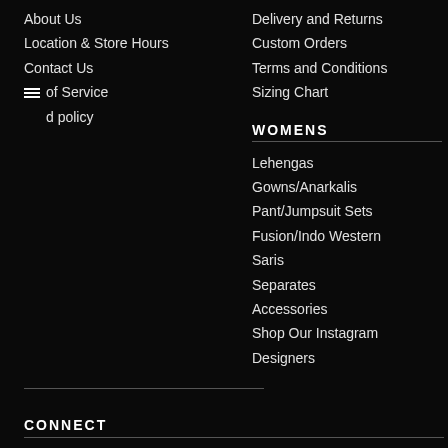About Us
Location & Store Hours
Contact Us
of Service
d policy
Delivery and Returns
Custom Orders
Terms and Conditions
Sizing Chart
WOMENS
Lehengas
Gowns/Anarkalis
Pant/Jumpsuit Sets
Fusion/Indo Western
Saris
Separates
Accessories
Shop Our Instagram
Designers
CONNECT